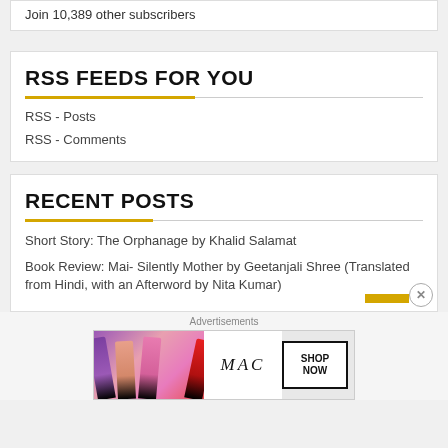Join 10,389 other subscribers
RSS FEEDS FOR YOU
RSS - Posts
RSS - Comments
RECENT POSTS
Short Story: The Orphanage by Khalid Salamat
Book Review: Mai- Silently Mother by Geetanjali Shree (Translated from Hindi, with an Afterword by Nita Kumar)
Advertisements
[Figure (photo): MAC cosmetics advertisement showing lipsticks with SHOP NOW text]